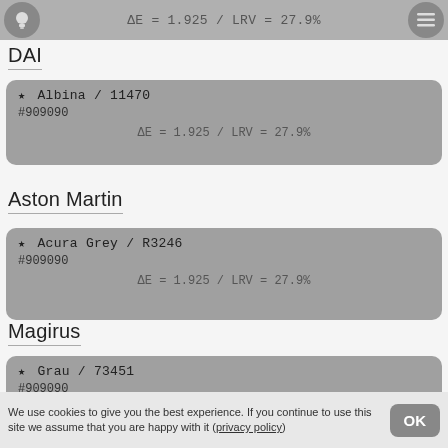ΔE = 1.925 / LRV = 27.9%
DAI
★ Albina / 11470
#909090
ΔE = 1.925 / LRV = 27.9%
Aston Martin
★ Acura Grey / R3246
#909090
ΔE = 1.925 / LRV = 27.9%
Magirus
★ Grau / 73451
#909090
ΔE = 1.925 / LRV = 27.9%
Mitsubishi
We use cookies to give you the best experience. If you continue to use this site we assume that you are happy with it (privacy policy)